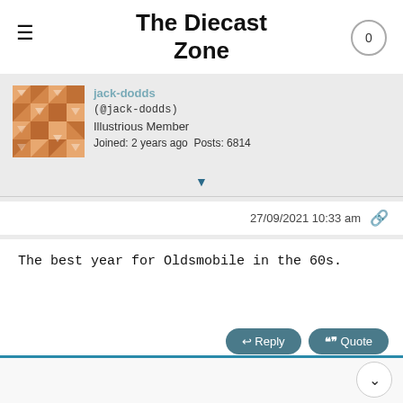The Diecast Zone
[Figure (screenshot): User avatar for jack-dodds, orange/tan geometric pattern tile]
jack-dodds (@jack-dodds) Illustrious Member Joined: 2 years ago Posts: 6814
27/09/2021 10:33 am
The best year for Oldsmobile in the 60s.
Reply  Quote